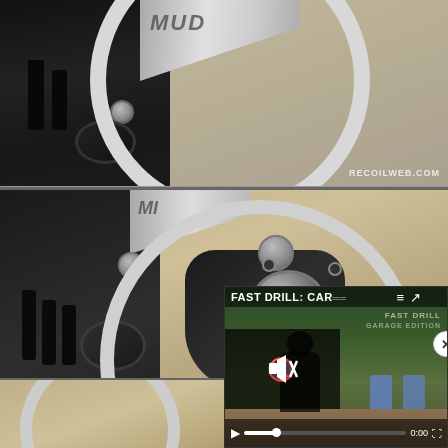[Figure (photo): Close-up photo of a folding knife with dark textured handle and silver blade, with a circular magnifying glass ring visible. Watermark 'RECOILWEB.COM' in lower right.]
[Figure (photo): Larger close-up of the same folding knife showing the pivot mechanism and a circular metal ring/bracelet. The knife has carbon fiber-patterned handle with grooves and a stainless steel pivot/disc assembly with screws. Watermark 'RECOILWEB.COM' in lower left. A video overlay in the lower right shows a fast drill shooting video thumbnail with play controls.]
[Figure (photo): Partial bottom photo strip showing the circular metal ring and sandy/tan background, cut off by page edge.]
[Figure (screenshot): Video player overlay showing 'FAST DRILL: CAR...' title, shooting range background with blue targets, mute icon, play button, progress bar at 0:00, and fullscreen button. Close (x) button in upper right corner of overlay.]